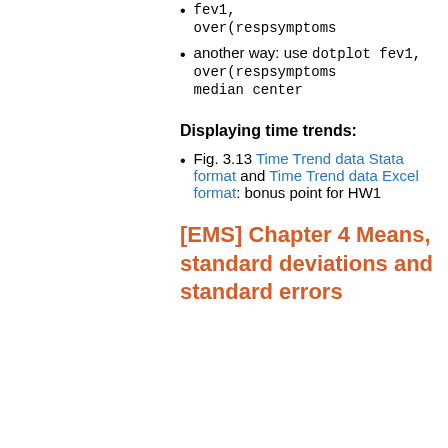fev1, over(respsymptoms)
another way: use dotplot fev1, over(respsymptoms) median center
Displaying time trends:
Fig. 3.13 Time Trend data Stata format and Time Trend data Excel format: bonus point for HW1
[EMS] Chapter 4 Means, standard deviations and standard errors